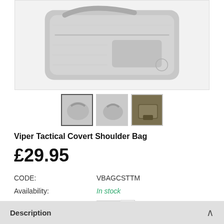[Figure (photo): Main product image of Viper Tactical Covert Shoulder Bag (grey)]
[Figure (photo): Three thumbnail images of the Viper Tactical Covert Shoulder Bag in different colors and views]
Viper Tactical Covert Shoulder Bag
£29.95
CODE: VBAGCSTTM
Availability: In stock
Quantity: 1
ADD TO CART
Description